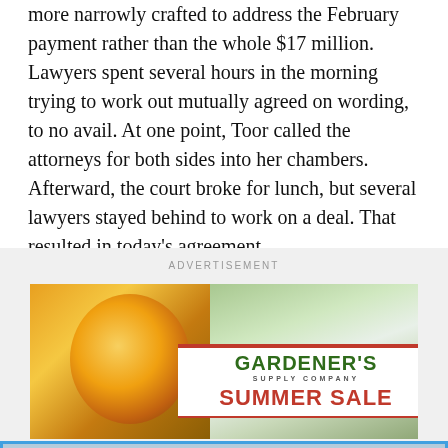more narrowly crafted to address the February payment rather than the whole $17 million. Lawyers spent several hours in the morning trying to work out mutually agreed on wording, to no avail. At one point, Toor called the attorneys for both sides into her chambers. Afterward, the court broke for lunch, but several lawyers stayed behind to work on a deal. That resulted in today's agreement.
[Figure (other): Gardener's Supply Company Summer Sale advertisement with flowers — orange black-eyed Susans on the left and pink hydrangeas on the right, with a white banner in the center showing the company name and 'SUMMER SALE' in red.]
[Figure (other): Season Passes starting at $299 ski resort advertisement with a skier on a snowy slope, blue border, white bold text.]